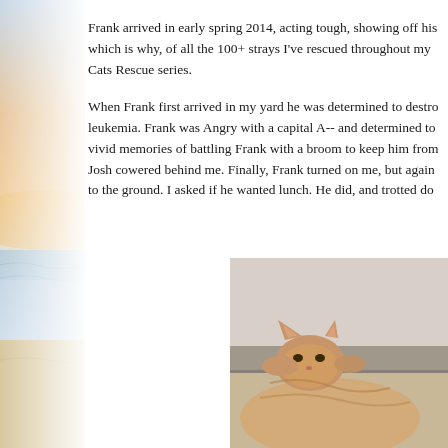Frank arrived in early spring 2014, acting tough, showing off his which is why, of all the 100+ strays I've rescued throughout my Cats Rescue series.
When Frank first arrived in my yard he was determined to destroy leukemia. Frank was Angry with a capital A-- and determined to vivid memories of battling Frank with a broom to keep him from Josh cowered behind me. Finally, Frank turned on me, but again to the ground. I asked if he wanted lunch. He did, and trotted do
[Figure (photo): A close-up photo of a cat near what appears to be a concrete ledge or wall, with the cat's head and paws visible.]